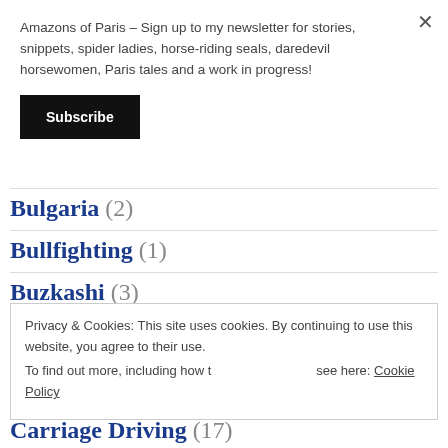Amazons of Paris – Sign up to my newsletter for stories, snippets, spider ladies, horse-riding seals, daredevil horsewomen, Paris tales and a work in progress!
Subscribe
Bulgaria (2)
Bullfighting (1)
Buzkashi (3)
Privacy & Cookies: This site uses cookies. By continuing to use this website, you agree to their use. To find out more, including how to control cookies, see here: Cookie Policy
Close and accept
Carriage Driving (17)